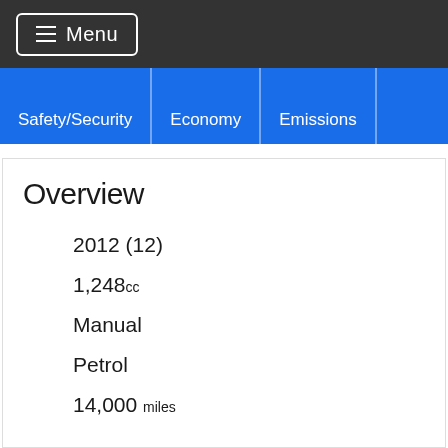Menu
Safety/Security | Economy | Emissions
Overview
2012 (12)
1,248cc
Manual
Petrol
14,000 miles